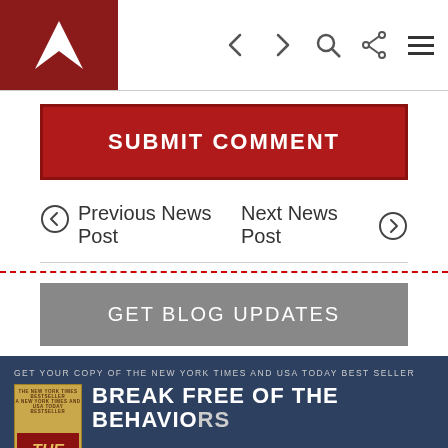Navigation header with logo and icons
SUBMIT COMMENT
← Previous News Post   Next News Post →
GET BLOG UPDATES
GET YOUR COPY OF THE NEW YORK TIMES AND USA TODAY BEST SELLER
BREAK FREE OF THE BEHAVIORS